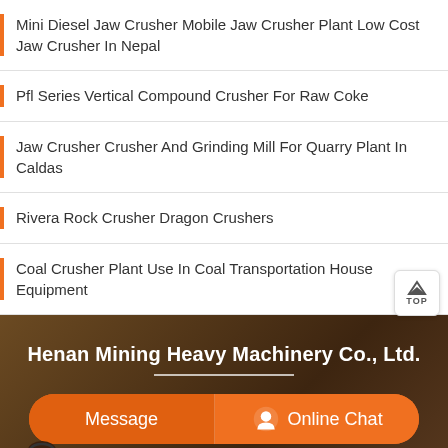Mini Diesel Jaw Crusher Mobile Jaw Crusher Plant Low Cost Jaw Crusher In Nepal
Pfl Series Vertical Compound Crusher For Raw Coke
Jaw Crusher Crusher And Grinding Mill For Quarry Plant In Caldas
Rivera Rock Crusher Dragon Crushers
Coal Crusher Plant Use In Coal Transportation House Equipment
Henan Mining Heavy Machinery Co., Ltd.
Message
Online Chat